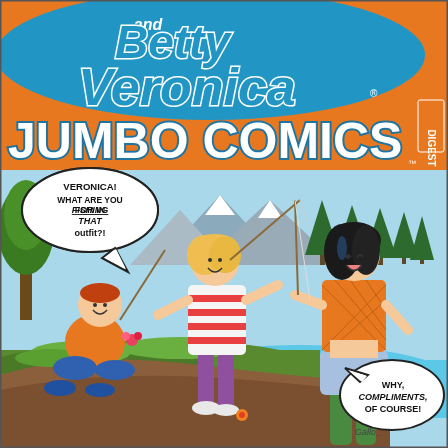[Figure (illustration): Betty and Veronica Jumbo Comics Digest comic book cover. Top orange header band with blue 'Betty and Veronica' script title, 'JUMBO COMICS' in large white letters, 'DIGEST' label on right side. Below, a comic illustration showing Archie sitting on grass at left, Betty (blonde, striped shirt, purple pants) standing center with a fishing rod and speech bubble reading 'VERONICA! WHAT ARE YOU FISHING FOR IN THAT OUTFIT?!', and Veronica (black hair, orange fishnet top, denim shorts, green boots) standing in water at right with speech bubble reading 'WHY, COMPLIMENTS, OF COURSE!' Background shows mountains, trees, and a lake.]